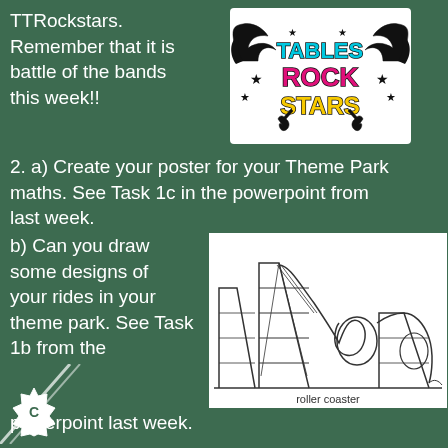TTRockstars. Remember that it is battle of the bands this week!!
[Figure (logo): Tables Rock Stars logo with colorful rock-style text and wings]
2. a) Create your poster for your Theme Park maths. See Task 1c in the powerpoint from last week.
b) Can you draw some designs of your rides in your theme park. See Task 1b from the powerpoint last week.
[Figure (illustration): Black and white illustration of a roller coaster with caption 'roller coaster']